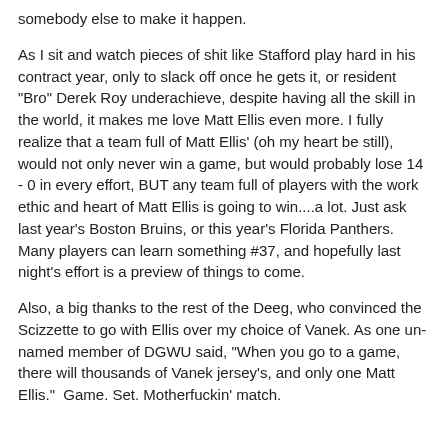somebody else to make it happen.
As I sit and watch pieces of shit like Stafford play hard in his contract year, only to slack off once he gets it, or resident "Bro" Derek Roy underachieve, despite having all the skill in the world, it makes me love Matt Ellis even more. I fully realize that a team full of Matt Ellis' (oh my heart be still), would not only never win a game, but would probably lose 14 - 0 in every effort, BUT any team full of players with the work ethic and heart of Matt Ellis is going to win....a lot. Just ask last year's Boston Bruins, or this year's Florida Panthers. Many players can learn something #37, and hopefully last night's effort is a preview of things to come.
Also, a big thanks to the rest of the Deeg, who convinced the Scizzette to go with Ellis over my choice of Vanek. As one un-named member of DGWU said, "When you go to a game, there will thousands of Vanek jersey's, and only one Matt Ellis."  Game. Set. Motherfuckin' match.